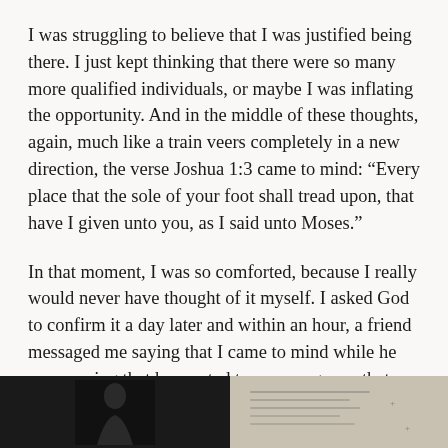I was struggling to believe that I was justified being there. I just kept thinking that there were so many more qualified individuals, or maybe I was inflating the opportunity. And in the middle of these thoughts, again, much like a train veers completely in a new direction, the verse Joshua 1:3 came to mind: “Every place that the sole of your foot shall tread upon, that have I given unto you, as I said unto Moses.”
In that moment, I was so comforted, because I really would never have thought of it myself. I asked God to confirm it a day later and within an hour, a friend messaged me saying that I came to mind while he was praying that he wanted to encourage me that God brought me to that place. How beautiful.
[Figure (photo): Two side-by-side photos at the bottom of the page: left photo shows a dark silhouette of a person against a black background; right photo is a lighter image with a handwritten note or paper visible.]